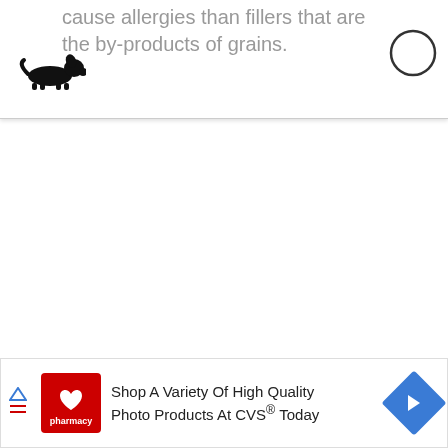cause allergies than fillers that are the by-products of grains.
[Figure (illustration): Small black silhouette icon of a dog]
[Figure (other): Empty circle outline icon on right side of header]
[Figure (other): Advertisement banner: CVS Pharmacy logo with text 'Shop A Variety Of High Quality Photo Products At CVS® Today' and a blue navigation arrow icon]